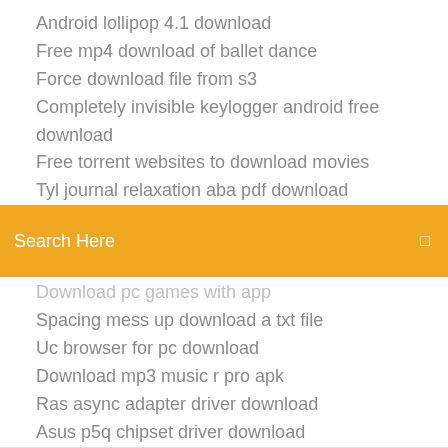Android lollipop 4.1 download
Free mp4 download of ballet dance
Force download file from s3
Completely invisible keylogger android free download
Free torrent websites to download movies
Tyl journal relaxation aba pdf download
[Figure (screenshot): Orange/yellow search bar with text 'Search Here' and a small icon on the right]
Download pc games with app
Spacing mess up download a txt file
Uc browser for pc download
Download mp3 music r pro apk
Ras async adapter driver download
Asus p5q chipset driver download
Infinity we mod download
Geometry dash free pc download full version
Minecraft hidden missile launch site download